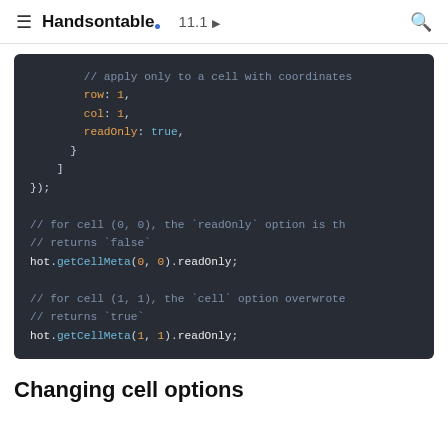Handsontable 11.1
[Figure (screenshot): Dark-themed code block showing JavaScript snippet with readOnly cell option configuration and getCellMeta calls]
Changing cell options